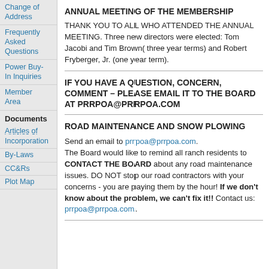Change of Address
Frequently Asked Questions
Power Buy-In Inquiries
Member Area
Documents
Articles of Incorporation
By-Laws
CC&Rs
Plot Map
ANNUAL MEETING OF THE MEMBERSHIP
THANK YOU TO ALL WHO ATTENDED THE ANNUAL MEETING. Three new directors were elected: Tom Jacobi and Tim Brown( three year terms) and Robert Fryberger, Jr. (one year term).
IF YOU HAVE A QUESTION, CONCERN, COMMENT – PLEASE EMAIL IT TO THE BOARD AT PRRPOA@PRRPOA.COM
ROAD MAINTENANCE AND SNOW PLOWING
Send an email to prrpoa@prrpoa.com. The Board would like to remind all ranch residents to CONTACT THE BOARD about any road maintenance issues. DO NOT stop our road contractors with your concerns - you are paying them by the hour! If we don't know about the problem, we can't fix it!! Contact us: prrpoa@prrpoa.com.